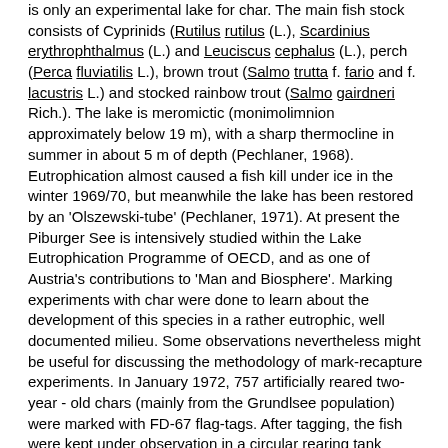is only an experimental lake for char. The main fish stock consists of Cyprinids (Rutilus rutilus (L.), Scardinius erythrophthalmus (L.) and Leuciscus cephalus (L.), perch (Perca fluviatilis L.), brown trout (Salmo trutta f. fario and f. lacustris L.) and stocked rainbow trout (Salmo gairdneri Rich.). The lake is meromictic (monimolimnion approximately below 19 m), with a sharp thermocline in summer in about 5 m of depth (Pechlaner, 1968). Eutrophication almost caused a fish kill under ice in the winter 1969/70, but meanwhile the lake has been restored by an 'Olszewski-tube' (Pechlaner, 1971). At present the Piburger See is intensively studied within the Lake Eutrophication Programme of OECD, and as one of Austria's contributions to 'Man and Biosphere'. Marking experiments with char were done to learn about the development of this species in a rather eutrophic, well documented milieu. Some observations nevertheless might be useful for discussing the methodology of mark-recapture experiments. In January 1972, 757 artificially reared two-year - old chars (mainly from the Grundlsee population) were marked with FD-67 flag-tags. After tagging, the fish were kept under observation in a circular rearing tank containing approximately 1 000 litres of water. Within 16 days 135 chars had lost their tags, most of them shortly after tagging. This tag loss (18%) must be judged in association with the artificial rearing conditions which influence both the histological properties of muscle and skin and the behaviour of the crowded fish, and might intensify tag loss in several ways. Specimens which had lost their tag were stocked without repeating the tagging, but were discernible as belonging to this batch. The chars were released on 31 January